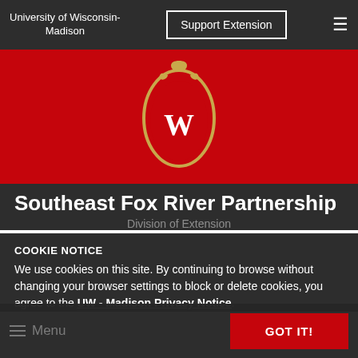University of Wisconsin-Madison | Support Extension
[Figure (logo): University of Wisconsin-Madison crest/shield logo — oval gold frame with red shield bearing a white W, decorative scrollwork at top]
Southeast Fox River Partnership
Division of Extension
COOKIE NOTICE
We use cookies on this site. By continuing to browse without changing your browser settings to block or delete cookies, you agree to the UW - Madison Privacy Notice.
GOT IT!